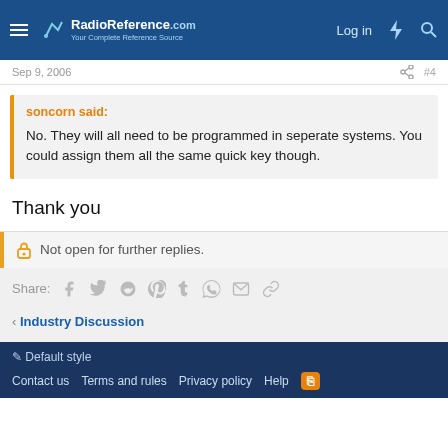RadioReference.com — Log in
Sep 9, 2006  #4
soncorn said:
No. They will all need to be programmed in seperate systems. You could assign them all the same quick key though.
Thank you
Not open for further replies.
Share:
< Industry Discussion
Default style
Contact us  Terms and rules  Privacy policy  Help